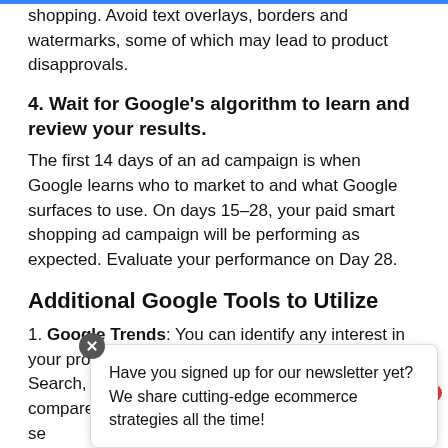shopping. Avoid text overlays, borders and watermarks, some of which may lead to product disapprovals.
4. Wait for Google's algorithm to learn and review your results.
The first 14 days of an ad campaign is when Google learns who to market to and what Google surfaces to use. On days 15-28, your paid smart shopping ad campaign will be performing as expected. Evaluate your performance on Day 28.
Additional Google Tools to Utilize
1. Google Trends: You can identify any interest in your products and s... ogle Search, YouTu... also compare searc... ar consistently se...
Have you signed up for our newsletter yet? We share cutting-edge ecommerce strategies all the time!